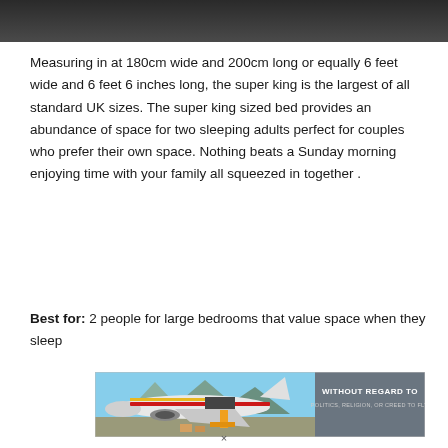[Figure (photo): Top portion of a photo, appears to be a dark/grey interior or background image, cropped at the bottom.]
Measuring in at 180cm wide and 200cm long or equally 6 feet wide and 6 feet 6 inches long, the super king is the largest of all standard UK sizes. The super king sized bed provides an abundance of space for two sleeping adults perfect for couples who prefer their own space. Nothing beats a Sunday morning enjoying time with your family all squeezed in together .
Best for: 2 people for large bedrooms that value space when they sleep
[Figure (photo): Advertisement banner showing a cargo airplane being loaded on a tarmac with a colorful livery (red, yellow, blue stripes). On the right side is a grey box with text: WITHOUT REGARD TO / POLITICS, RELIGION, OR CREED TO FLY.]